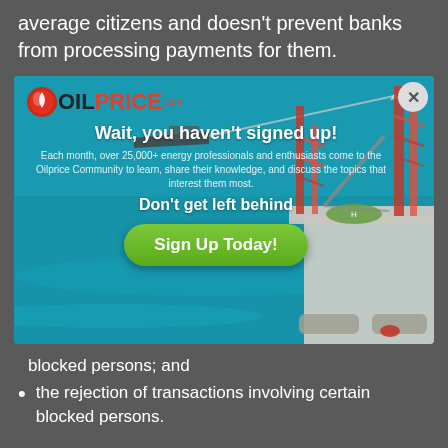average citizens and doesn't prevent banks from processing payments for them.
[Figure (screenshot): OilPrice.com popup advertisement overlay. Shows 'Wait, you haven't signed up!' headline with sub-text about 25,000+ energy professionals, 'Don't get left behind' and a green 'Sign Up Today!' button. Background shows an offshore oil rig and ocean.]
blocked persons; and
the rejection of transactions involving certain blocked persons.